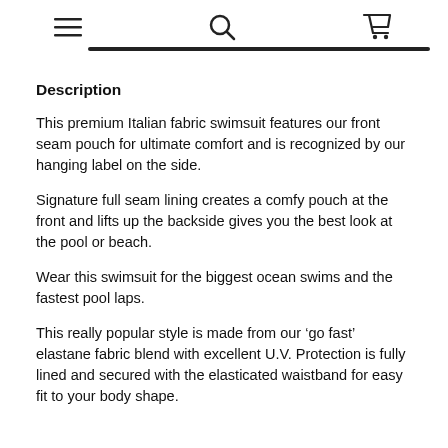[hamburger menu] [search] [cart]
Description
This premium Italian fabric swimsuit features our front seam pouch for ultimate comfort and is recognized by our hanging label on the side.
Signature full seam lining creates a comfy pouch at the front and lifts up the backside gives you the best look at the pool or beach.
Wear this swimsuit for the biggest ocean swims and the fastest pool laps.
This really popular style is made from our ‘go fast’ elastane fabric blend with excellent U.V. Protection is fully lined and secured with the elasticated waistband for easy fit to your body shape.